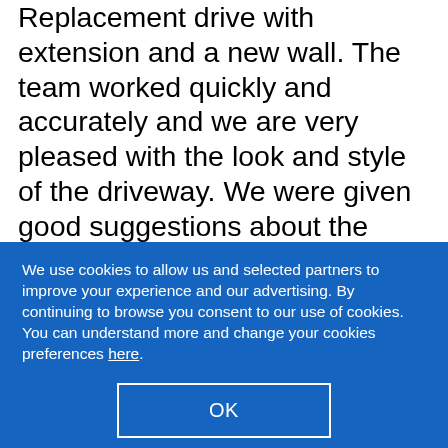Replacement drive with extension and a new wall. The team worked quickly and accurately and we are very pleased with the look and style of the driveway. We were given good suggestions about the design. It was completed to the quote given. Courtney and the rest of the team kept us informed at all stages about what was being done and what would be happening next. We would have preferred to choose the colour of the pavers and bricks in advance to
We use cookies to allow us and selected partners to improve your experience and our advertising. By continuing to browse you consent to our use of cookies. You can understand more and change your cookies preferences here.